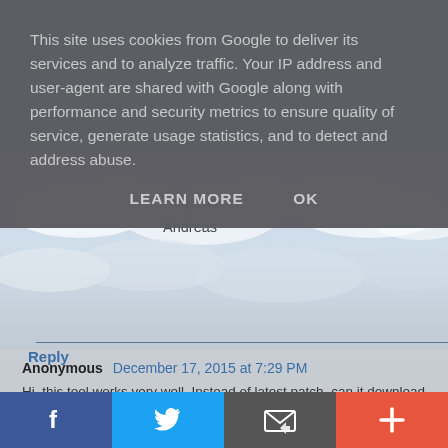This site uses cookies from Google to deliver its services and to analyze traffic. Your IP address and user-agent are shared with Google along with performance and security metrics to ensure quality of service, generate usage statistics, and to detect and address abuse.
LEARN MORE   OK
Regards
Andreas
Reply
Anonymous  December 17, 2015 at 7:29 PM
Hi. this tool works very well. Instead of latest patch. can it download a specific version ?? Example. I need to test 5.5 update 2. Thanks you so much.
[Figure (infographic): Social sharing bar with four buttons: Facebook (blue), Twitter (light blue), Email/RSS (dark gray), and Add/Plus (orange-red)]